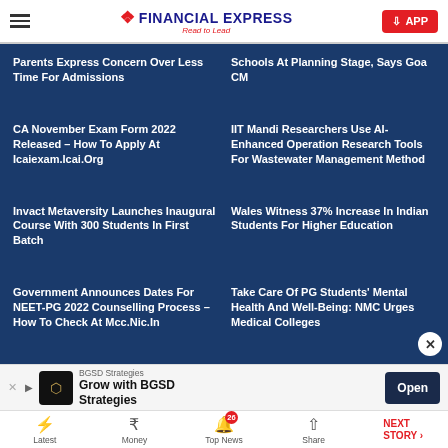Financial Express — Read to Lead | APP
Parents Express Concern Over Less Time For Admissions
Schools At Planning Stage, Says Goa CM
CA November Exam Form 2022 Released – How To Apply At Icaiexam.Icai.Org
IIT Mandi Researchers Use AI-Enhanced Operation Research Tools For Wastewater Management Method
Invact Metaversity Launches Inaugural Course With 300 Students In First Batch
Wales Witness 37% Increase In Indian Students For Higher Education
Government Announces Dates For NEET-PG 2022 Counselling Process – How To Check At Mcc.Nic.In
Take Care Of PG Students' Mental Health And Well-Being: NMC Urges Medical Colleges
BGSD Strategies — Grow with BGSD Strategies | Open
Latest | Money | Top News 26 | Share | NEXT STORY